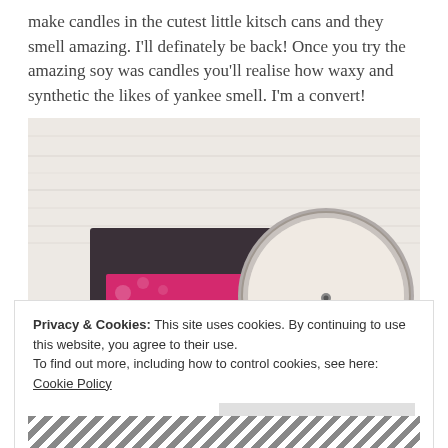make candles in the cutest little kitsch cans and they smell amazing. I'll definately be back! Once you try the amazing soy was candles you'll realise how waxy and synthetic the likes of yankee smell. I'm a convert!
[Figure (photo): Photo of a 'Can to Candle' branded box with pink floral label next to an open tin candle with white wax and a wick, and pink ribbon, on a rustic white wooden surface.]
Privacy & Cookies: This site uses cookies. By continuing to use this website, you agree to their use.
To find out more, including how to control cookies, see here: Cookie Policy
Close and accept